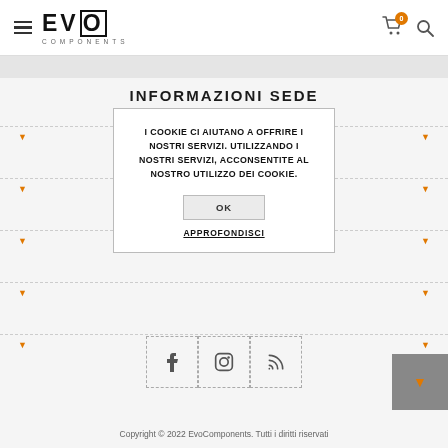EVO COMPONENTS — navigation header
INFORMAZIONI SEDE
I COOKIE CI AIUTANO A OFFRIRE I NOSTRI SERVIZI. UTILIZZANDO I NOSTRI SERVIZI, ACCONSENTITE AL NOSTRO UTILIZZO DEI COOKIE.
OK
APPROFONDISCI
[Figure (infographic): Social media icons row: Facebook (f), Instagram, RSS feed icons in dashed boxes]
Copyright © 2022 EvoComponents. Tutti i diritti riservati